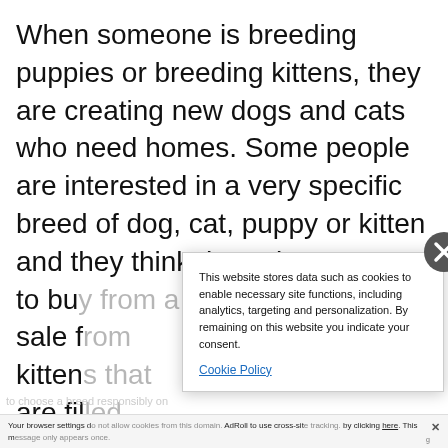When someone is breeding puppies or breeding kittens, they are creating new dogs and cats who need homes. Some people are interested in a very specific breed of dog, cat, puppy or kitten and they think the only w[ay] to bu[y from a] sale fr[om] kitten[s that] are fil[led] must [be...]
[Figure (screenshot): Cookie consent modal popup with close (X) button in circle at top right. Contains text about website data storage and a Cookie Policy link.]
This website stores data such as cookies to enable necessary site functions, including analytics, targeting and personalization. By remaining on this website you indicate your consent.
Cookie Policy
Your browser settings d[o not allow cookies from this site.] AdRoll to use cross-site[...] by clicking here. This m[essage only appears once.]